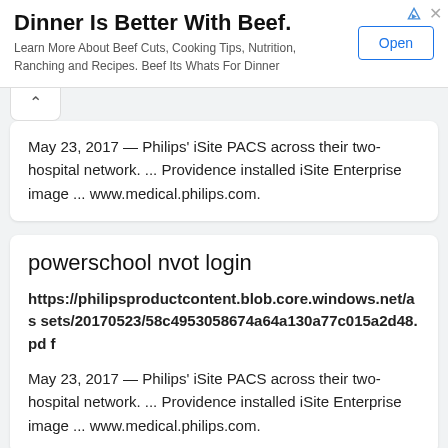[Figure (screenshot): Advertisement banner: 'Dinner Is Better With Beef.' with Open button]
May 23, 2017 — Philips' iSite PACS across their two-hospital network. ... Providence installed iSite Enterprise image ... www.medical.philips.com.
powerschool nvot login
https://philipsproductcontent.blob.core.windows.net/assets/20170523/58c4953058674a64a130a77c015a2d48.pdf
May 23, 2017 — Philips' iSite PACS across their two-hospital network. ... Providence installed iSite Enterprise image ... www.medical.philips.com.